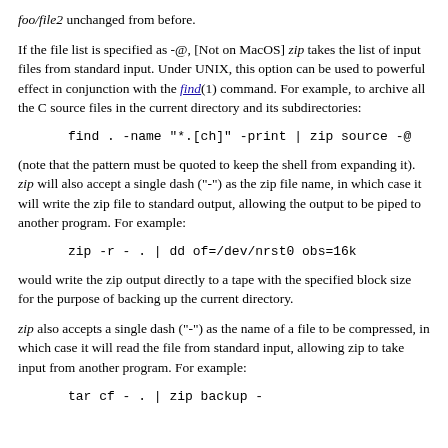foo/file2 unchanged from before.
If the file list is specified as -@, [Not on MacOS] zip takes the list of input files from standard input. Under UNIX, this option can be used to powerful effect in conjunction with the find(1) command. For example, to archive all the C source files in the current directory and its subdirectories:
find . -name "*.[ch]" -print | zip source -@
(note that the pattern must be quoted to keep the shell from expanding it). zip will also accept a single dash ("-") as the zip file name, in which case it will write the zip file to standard output, allowing the output to be piped to another program. For example:
zip -r - . | dd of=/dev/nrst0 obs=16k
would write the zip output directly to a tape with the specified block size for the purpose of backing up the current directory.
zip also accepts a single dash ("-") as the name of a file to be compressed, in which case it will read the file from standard input, allowing zip to take input from another program. For example:
tar cf - . | zip backup -